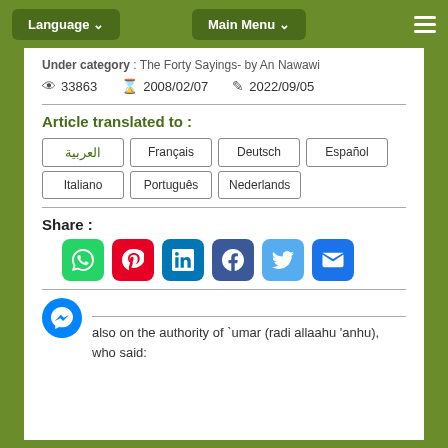Language  Main Menu
Under category : The Forty Sayings- by An Nawawi
33863   2008/02/07   2022/09/05
Article translated to :
العربية
Français
Deutsch
Español
Italiano
Português
Nederlands
Share :
[Figure (infographic): Social share buttons: WhatsApp, Pinterest, LinkedIn, Facebook, Twitter, Email]
also on the authority of `umar (radi allaahu 'anhu), who said: